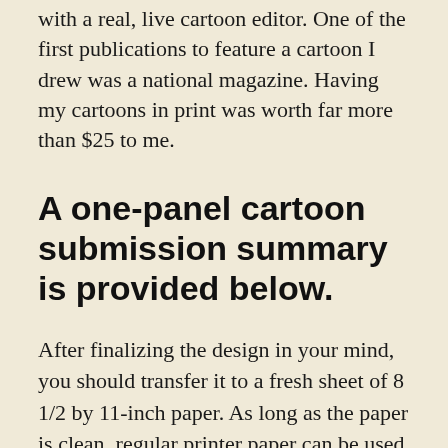with a real, live cartoon editor. One of the first publications to feature a cartoon I drew was a national magazine. Having my cartoons in print was worth far more than $25 to me.
A one-panel cartoon submission summary is provided below.
After finalizing the design in your mind, you should transfer it to a fresh sheet of 8 1/2 by 11-inch paper. As long as the paper is clean, regular printer paper can be used. Don't make an effort to be cute by playing with the size or color of the paper. Sending your work on neon paper will not make it stand out, and larger print sizes are a nuisance for editors who have to wade through many submissions. It seems like the work of a novice, so